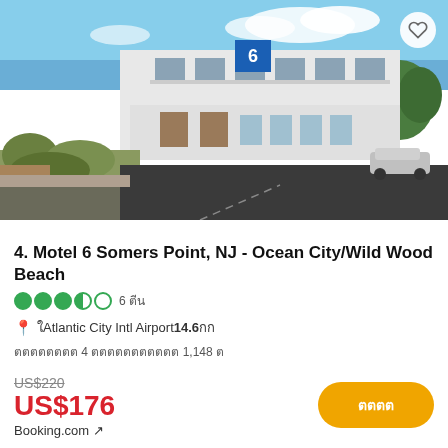[Figure (photo): Exterior photo of Motel 6 Somers Point NJ, a two-story white building with parking lot in foreground, blue sky, and trees in background]
4. Motel 6 Somers Point, NJ - Ocean City/Wild Wood Beach
●●●●○ 6 ตีน
📍 ใAtlantic City Intl Airport14.6กก
ตตตตตตตต 4 ตตตตตตตตตตต 1,148 ต
US$220
US$176
Booking.com ↗
ตตตต
✓ ตตตต
ตตตต 6 ตต US$175 ตตตตต